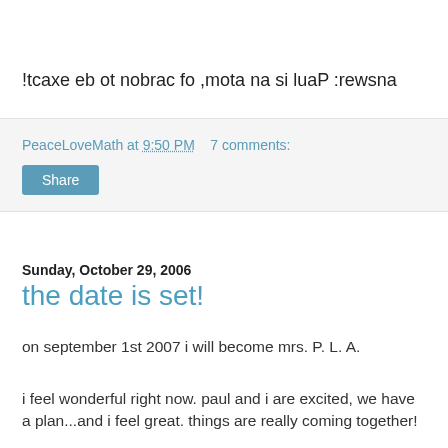!tcaxe eb ot nobrac fo ,mota na si luaP :rewsna
PeaceLoveMath at 9:50 PM   7 comments:
Share
Sunday, October 29, 2006
the date is set!
on september 1st 2007 i will become mrs. P. L. A.
i feel wonderful right now. paul and i are excited, we have a plan...and i feel great. things are really coming together!
johanna's wedding on friday was amazing. of the six bridesmaids, i was the one with the biggest smile on my face, and also the only one crying. it was awesome. oh, and